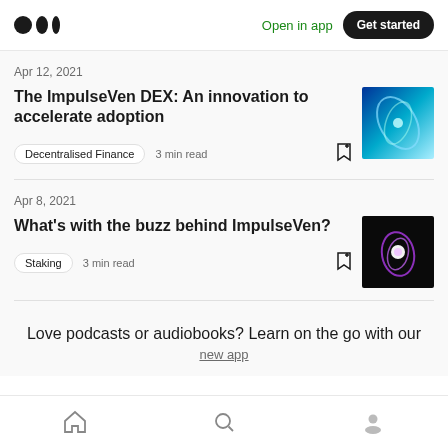Open in app | Get started
Apr 12, 2021
The ImpulseVen DEX: An innovation to accelerate adoption
Decentralised Finance  3 min read
Apr 8, 2021
What's with the buzz behind ImpulseVen?
Staking  3 min read
Love podcasts or audiobooks? Learn on the go with our
Home | Search | Profile